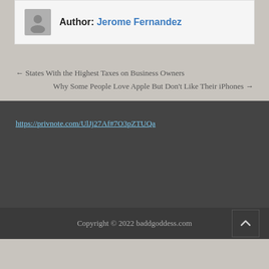Author: Jerome Fernandez
← States With the Highest Taxes on Business Owners
Why Some People Love Apple But Don't Like Their iPhones →
https://privnote.com/UlJj27Af#7O3pZTUQa
Copyright © 2022 baddgoddess.com